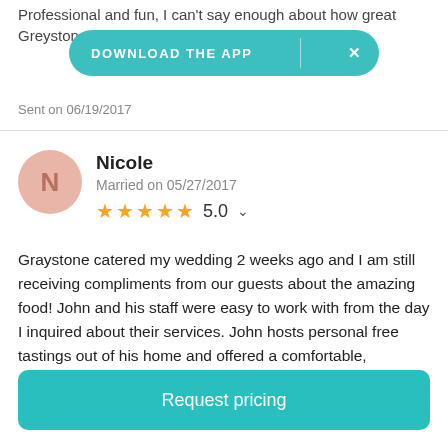Professional and fun, I can't say enough about how great Greystone
[Figure (infographic): Teal pill-shaped download the app banner with X close button]
Sent on 06/19/2017
Nicole
Married on 05/27/2017
★★★★★ 5.0
Graystone catered my wedding 2 weeks ago and I am still receiving compliments from our guests about the amazing food! John and his staff were easy to work with from the day I inquired about their services. John hosts personal free tastings out of his home and offered a comfortable, pressure-free experience-- we immediately felt at ease! They have an extensive menu to select from with many
Request pricing